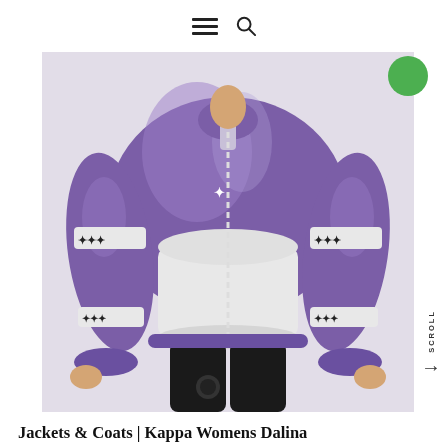Navigation menu icon and search icon
[Figure (photo): A woman wearing a shiny purple and white Kappa puffer jacket with Kappa logo bands on the sleeves, paired with black leggings. The jacket features a white center panel and Kappa's mirrored-man logo repeated on sleeve bands.]
Jackets & Coats | Kappa Womens Dalina